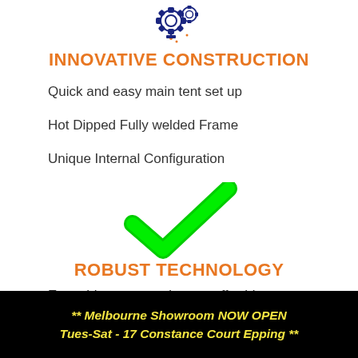[Figure (illustration): Icon of gears and light bulb, navy blue and orange colors, representing innovation]
INNOVATIVE CONSTRUCTION
Quick and easy main tent set up
Hot Dipped Fully welded Frame
Unique Internal Configuration
[Figure (illustration): Large green checkmark icon]
ROBUST TECHNOLOGY
Everything you need to get off-grid
** Melbourne Showroom NOW OPEN Tues-Sat - 17 Constance Court Epping **